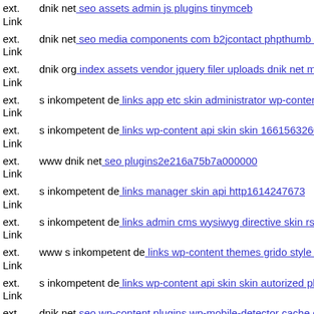ext. Link dnik net: seo assets admin js plugins tinymceb
ext. Link dnik net: seo media components com b2jcontact phpthumb ven
ext. Link dnik org: index assets vendor jquery filer uploads dnik net mag
ext. Link s inkompetent de: links app etc skin administrator wp-content p
ext. Link s inkompetent de: links wp-content api skin skin 1661563260
ext. Link www dnik net: seo plugins2e216a75b7a000000
ext. Link s inkompetent de: links manager skin api http1614247673
ext. Link s inkompetent de: links admin cms wysiwyg directive skin rss
ext. Link www s inkompetent de: links wp-content themes grido style cs
ext. Link s inkompetent de: links wp-content api skin skin autorized php
ext. Link dnik net: seo wp-content plugins wp-mobile-detector cache com
ext. Link ...